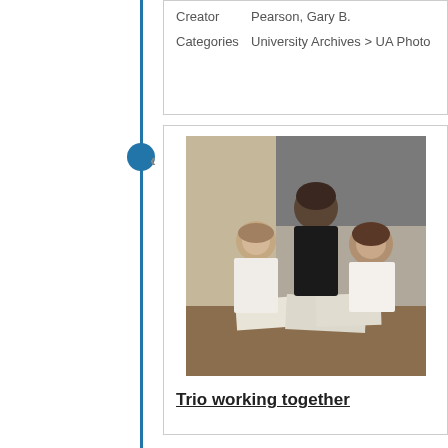Creator    Pearson, Gary B.
Categories University Archives > UA Photo
[Figure (photo): Black and white photograph of three women working together at a table. Two women are seated, one on each side, and one woman stands behind them leaning in. Papers and binders are open on the table in front of them. A chalkboard is visible in the background.]
Trio working together